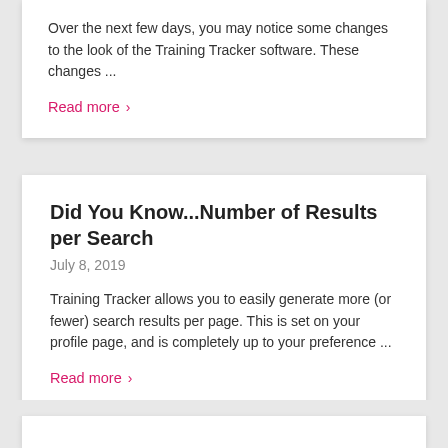Over the next few days, you may notice some changes to the look of the Training Tracker software. These changes ...
Read more >
Did You Know...Number of Results per Search
July 8, 2019
Training Tracker allows you to easily generate more (or fewer) search results per page. This is set on your profile page, and is completely up to your preference ...
Read more >